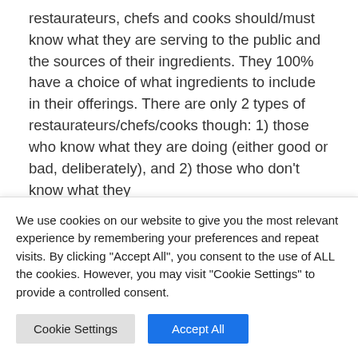restaurateurs, chefs and cooks should/must know what they are serving to the public and the sources of their ingredients. They 100% have a choice of what ingredients to include in their offerings. There are only 2 types of restaurateurs/chefs/cooks though: 1) those who know what they are doing (either good or bad, deliberately), and 2) those who don't know what they
We use cookies on our website to give you the most relevant experience by remembering your preferences and repeat visits. By clicking "Accept All", you consent to the use of ALL the cookies. However, you may visit "Cookie Settings" to provide a controlled consent.